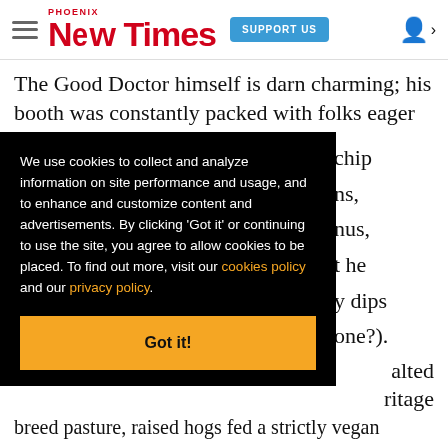Phoenix New Times — SUPPORT US
The Good Doctor himself is darn charming; his booth was constantly packed with folks eager to [chip] [ns,] [nus,] [t he] [y dips] [one?].
We use cookies to collect and analyze information on site performance and usage, and to enhance and customize content and advertisements. By clicking 'Got it' or continuing to use the site, you agree to allow cookies to be placed. To find out more, visit our cookies policy and our privacy policy.
[alted] [ritage] breed pasture, raised hogs fed a strictly vegan